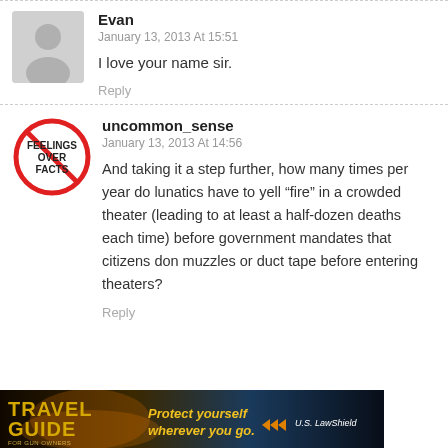[Figure (illustration): Gray silhouette avatar placeholder icon for user Evan]
Evan
January 13, 2013 At 15:51
I love your name sir.
Reply
[Figure (illustration): Red circle with slash no-sign icon containing text: FEELINGS OVER FACTS]
uncommon_sense
January 13, 2013 At 14:56
And taking it a step further, how many times per year do lunatics have to yell “fire” in a crowded theater (leading to at least a half-dozen deaths each time) before government mandates that citizens don muzzles or duct tape before entering theaters?
Reply
[Figure (illustration): Travel Guide For Gun Owners advertisement banner: yellow TRAVEL GUIDE text on dark background, 'Protect yourself wherever you go.' tagline with orange play arrows, U.S. LawShield branding on right]